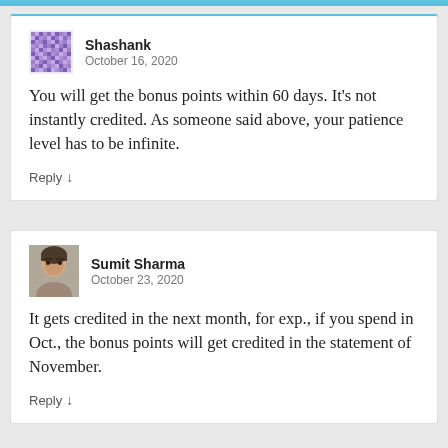Shashank
October 16, 2020
You will get the bonus points within 60 days. It's not instantly credited. As someone said above, your patience level has to be infinite.
Reply ↓
Sumit Sharma
October 23, 2020
It gets credited in the next month, for exp., if you spend in Oct., the bonus points will get credited in the statement of November.
Reply ↓